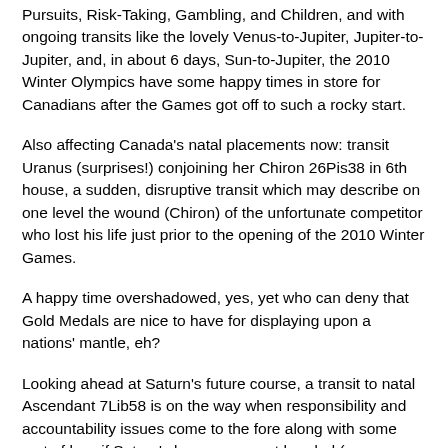Pursuits, Risk-Taking, Gambling, and Children, and with ongoing transits like the lovely Venus-to-Jupiter, Jupiter-to-Jupiter, and, in about 6 days, Sun-to-Jupiter, the 2010 Winter Olympics have some happy times in store for Canadians after the Games got off to such a rocky start.
Also affecting Canada's natal placements now: transit Uranus (surprises!) conjoining her Chiron 26Pis38 in 6th house, a sudden, disruptive transit which may describe on one level the wound (Chiron) of the unfortunate competitor who lost his life just prior to the opening of the 2010 Winter Games.
A happy time overshadowed, yes, yet who can deny that Gold Medals are nice to have for displaying upon a nations' mantle, eh?
Looking ahead at Saturn's future course, a transit to natal Ascendant 7Lib58 is on the way when responsibility and accountability issues come to the fore along with some sort of loss if Saturn's lessons are not heeded (ex: Hurricane Katrina occurred during the time of George Bush's Saturn-to-